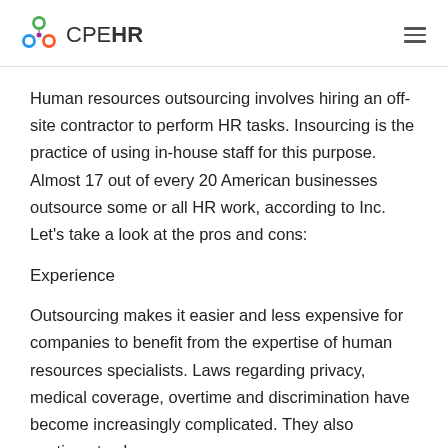CPE HR
Human resources outsourcing involves hiring an off-site contractor to perform HR tasks. Insourcing is the practice of using in-house staff for this purpose. Almost 17 out of every 20 American businesses outsource some or all HR work, according to Inc. Let's take a look at the pros and cons:
Experience
Outsourcing makes it easier and less expensive for companies to benefit from the expertise of human resources specialists. Laws regarding privacy, medical coverage, overtime and discrimination have become increasingly complicated. They also continue to change